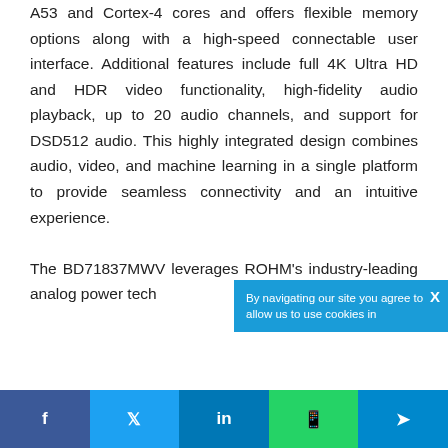A53 and Cortex-4 cores and offers flexible memory options along with a high-speed connectable user interface. Additional features include full 4K Ultra HD and HDR video functionality, high-fidelity audio playback, up to 20 audio channels, and support for DSD512 audio. This highly integrated design combines audio, video, and machine learning in a single platform to provide seamless connectivity and an intuitive experience.

The BD71837MWV leverages ROHM's industry-leading analog power tech...
[Figure (other): Social media share bar at bottom with Facebook, Twitter, LinkedIn, WhatsApp, and Telegram buttons]
By navigating our site you agree to allow us to use cookies in...